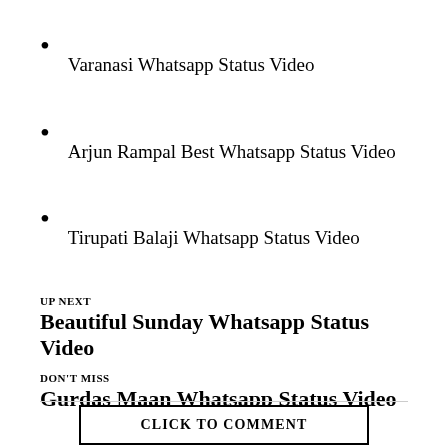Varanasi Whatsapp Status Video
Arjun Rampal Best Whatsapp Status Video
Tirupati Balaji Whatsapp Status Video
UP NEXT
Beautiful Sunday Whatsapp Status Video
DON'T MISS
Gurdas Maan Whatsapp Status Video
CLICK TO COMMENT